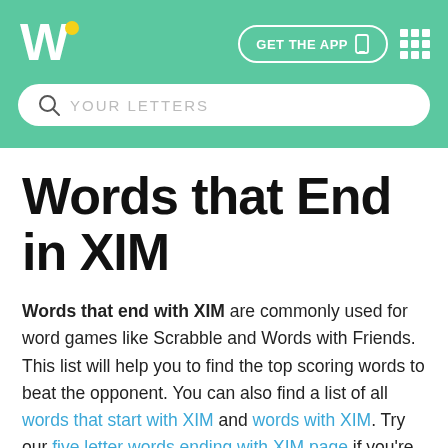Wordfinder — GET THE APP
Words that End in XIM
Words that end with XIM are commonly used for word games like Scrabble and Words with Friends. This list will help you to find the top scoring words to beat the opponent. You can also find a list of all words that start with XIM and words with XIM. Try our five letter words ending with XIM page if you're